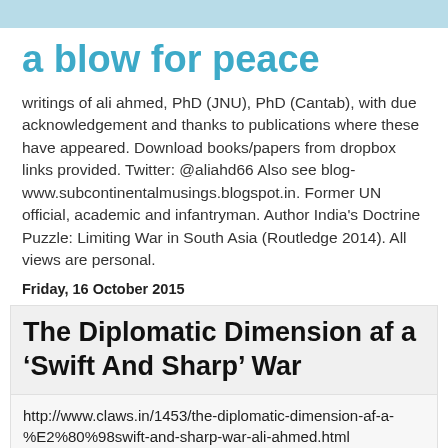a blow for peace
writings of ali ahmed, PhD (JNU), PhD (Cantab), with due acknowledgement and thanks to publications where these have appeared. Download books/papers from dropbox links provided. Twitter: @aliahd66 Also see blog- www.subcontinentalmusings.blogspot.in. Former UN official, academic and infantryman. Author India's Doctrine Puzzle: Limiting War in South Asia (Routledge 2014). All views are personal.
Friday, 16 October 2015
The Diplomatic Dimension af a ‘Swift And Sharp’ War
http://www.claws.in/1453/the-diplomatic-dimension-af-a-%E2%80%98swift-and-sharp-war-ali-ahmed.html